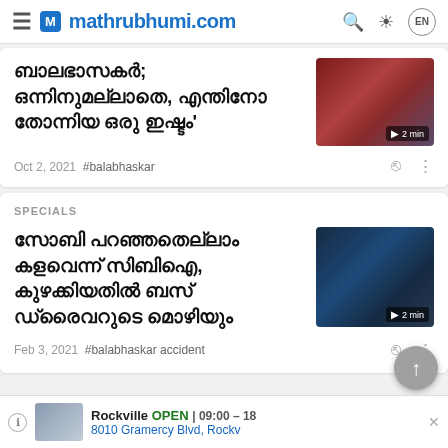mathrubhumi.com
ബാലഭാസകര്‍; ഒന്നിനുമല്ലാതെ, എന്തിനോ തോന്നിയ ഒരു ഇഷ്ടം'
Oct 2, 2021  #balabhaskar
SPECIALS
സോബി പറഞ്ഞതെല്ലാം കളവെന്ന് സിബിഐ, കുഴക്കിയതില്‍ ബസ് ഡ്രൈവറുടെ മൊഴിയും
Feb 3, 2021  #balabhaskar accident
Rockville  OPEN | 09:00 – 18  8010 Gramercy Blvd, Rockv